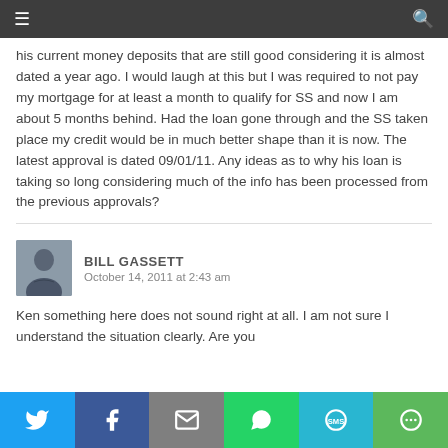Navigation bar with hamburger menu and search icon
his current money deposits that are still good considering it is almost dated a year ago. I would laugh at this but I was required to not pay my mortgage for at least a month to qualify for SS and now I am about 5 months behind. Had the loan gone through and the SS taken place my credit would be in much better shape than it is now. The latest approval is dated 09/01/11. Any ideas as to why his loan is taking so long considering much of the info has been processed from the previous approvals?
BILL GASSETT
October 14, 2011 at 2:43 am
Ken something here does not sound right at all. I am not sure I understand the situation clearly. Are you
Social sharing bar: Twitter, Facebook, Email, WhatsApp, SMS, More